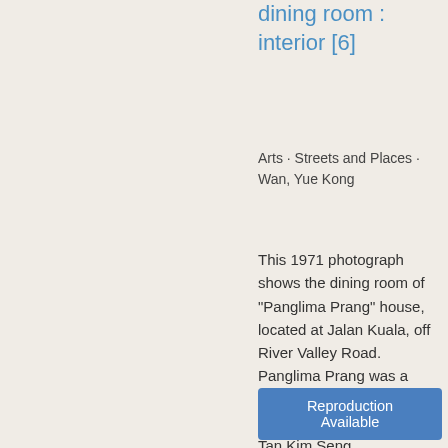dining room : interior [6]
Arts · Streets and Places · Wan, Yue Kong
This 1971 photograph shows the dining room of "Panglima Prang" house, located at Jalan Kuala, off River Valley Road. Panglima Prang was a 19th century Straits Chinese bungalow built by Tan Kim Seng. Photograph taken by Wan Yue Kong of Chew Studios; contributed by Lee Kip Lin (forming part of...
Reproduction Available